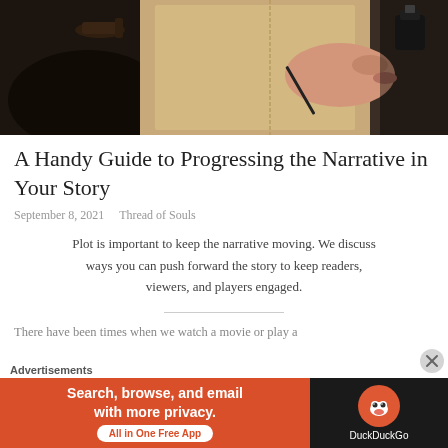[Figure (photo): Hero image showing a hand writing with a pen on parchment paper, with a pipe and boot visible in the background, dark wooden surface]
A Handy Guide to Progressing the Narrative in Your Story
September 8, 2021   Thread of Souls
Plot is important to keep the narrative moving. We discuss ways you can push forward the story to keep readers, viewers, and players engaged.
There have been times when we watch a movie or play a
[Figure (other): DuckDuckGo advertisement banner: orange left section with text 'Search, browse, and email with more privacy. All in One Free App' and dark right section with DuckDuckGo duck logo]